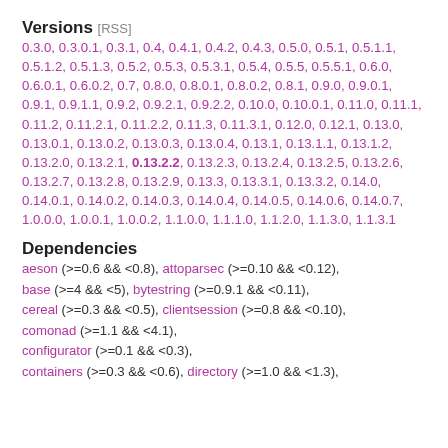Versions [RSS]
0.3.0, 0.3.0.1, 0.3.1, 0.4, 0.4.1, 0.4.2, 0.4.3, 0.5.0, 0.5.1, 0.5.1.1, 0.5.1.2, 0.5.1.3, 0.5.2, 0.5.3, 0.5.3.1, 0.5.4, 0.5.5, 0.5.5.1, 0.6.0, 0.6.0.1, 0.6.0.2, 0.7, 0.8.0, 0.8.0.1, 0.8.0.2, 0.8.1, 0.9.0, 0.9.0.1, 0.9.1, 0.9.1.1, 0.9.2, 0.9.2.1, 0.9.2.2, 0.10.0, 0.10.0.1, 0.11.0, 0.11.1, 0.11.2, 0.11.2.1, 0.11.2.2, 0.11.3, 0.11.3.1, 0.12.0, 0.12.1, 0.13.0, 0.13.0.1, 0.13.0.2, 0.13.0.3, 0.13.0.4, 0.13.1, 0.13.1.1, 0.13.1.2, 0.13.2.0, 0.13.2.1, 0.13.2.2, 0.13.2.3, 0.13.2.4, 0.13.2.5, 0.13.2.6, 0.13.2.7, 0.13.2.8, 0.13.2.9, 0.13.3, 0.13.3.1, 0.13.3.2, 0.14.0, 0.14.0.1, 0.14.0.2, 0.14.0.3, 0.14.0.4, 0.14.0.5, 0.14.0.6, 0.14.0.7, 1.0.0.0, 1.0.0.1, 1.0.0.2, 1.1.0.0, 1.1.1.0, 1.1.2.0, 1.1.3.0, 1.1.3.1
Dependencies
aeson (>=0.6 && <0.8), attoparsec (>=0.10 && <0.12), base (>=4 && <5), bytestring (>=0.9.1 && <0.11), cereal (>=0.3 && <0.5), clientsession (>=0.8 && <0.10), comonad (>=1.1 && <4.1), configurator (>=0.1 && <0.3), containers (>=0.3 && <0.6), directory (>=1.0 && <1.3),